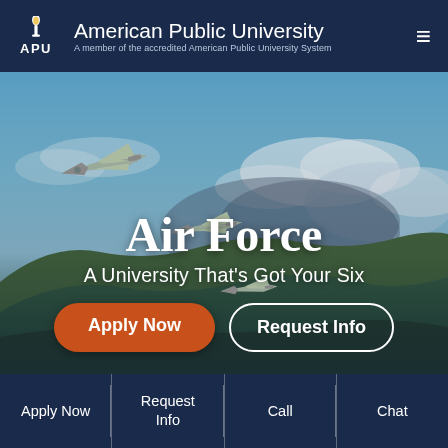American Public University — A member of the accredited American Public University System
[Figure (photo): Two military fighter jets flying over mountainous terrain with clouds in the background. Hero image for Air Force section of American Public University website.]
Air Force
A University That's Got Your Six
Apply Now
Request Info
Apply Now | Request Info | Call | Chat